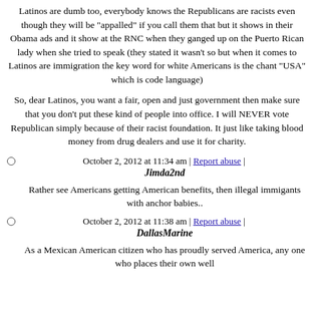Latinos are dumb too, everybody knows the Republicans are racists even though they will be "appalled" if you call them that but it shows in their Obama ads and it show at the RNC when they ganged up on the Puerto Rican lady when she tried to speak (they stated it wasn't so but when it comes to Latinos are immigration the key word for white Americans is the chant "USA" which is code language)
So, dear Latinos, you want a fair, open and just government then make sure that you don't put these kind of people into office. I will NEVER vote Republican simply because of their racist foundation. It just like taking blood money from drug dealers and use it for charity.
October 2, 2012 at 11:34 am | Report abuse | Jimda2nd
Rather see Americans getting American benefits, then illegal immigants with anchor babies..
October 2, 2012 at 11:38 am | Report abuse | DallasMarine
As a Mexican American citizen who has proudly served America, any one who places their own well